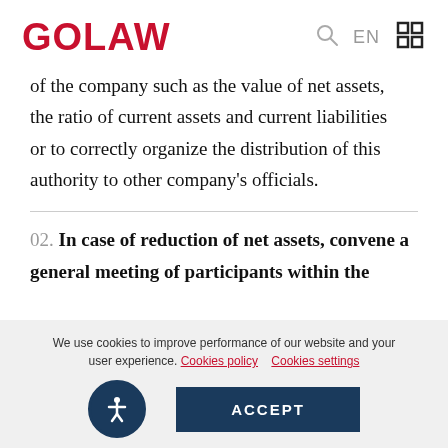GOLAW
of the company such as the value of net assets, the ratio of current assets and current liabilities or to correctly organize the distribution of this authority to other company's officials.
02. In case of reduction of net assets, convene a general meeting of participants within the
We use cookies to improve performance of our website and your user experience. Cookies policy   Cookies settings
ACCEPT